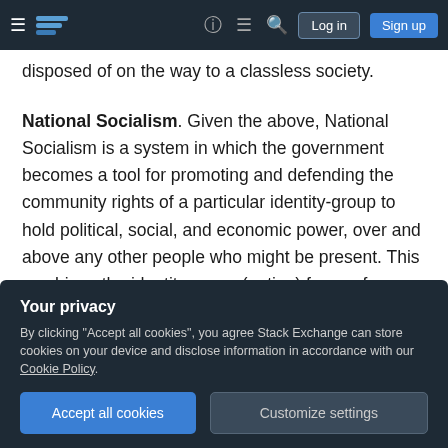Stack Exchange navigation bar with hamburger menu, logo, help, chat, search, Log in, Sign up
disposed of on the way to a classless society.
National Socialism. Given the above, National Socialism is a system in which the government becomes a tool for promoting and defending the community rights of a particular identity-group to hold political, social, and economic power, over and above any other people who might be present. This combines the identity-group (nation) focus of nationalism with the pre-Marxist (community rights and values) sense of of socialism. The combination
Your privacy
By clicking "Accept all cookies", you agree Stack Exchange can store cookies on your device and disclose information in accordance with our Cookie Policy.
Accept all cookies   Customize settings
of most people of Aryan descent (their identity group) were the "true" Germans, and should